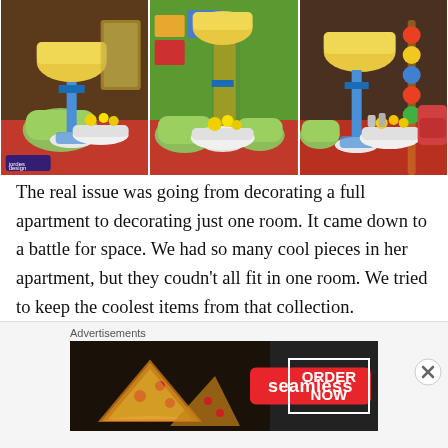[Figure (photo): Three side-by-side photos of a retro-styled room featuring a yellow lamp, green chairs, colorful decor, and orange shag rug.]
The real issue was going from decorating a full apartment to decorating just one room. It came down to a battle for space. We had so many cool pieces in her apartment, but they coudn't all fit in one room. We tried to keep the coolest items from that collection.
Advertisements
[Figure (photo): Seamless food delivery advertisement banner showing pizza slices on the left, the Seamless logo in red center, and an 'ORDER NOW' button on the right.]